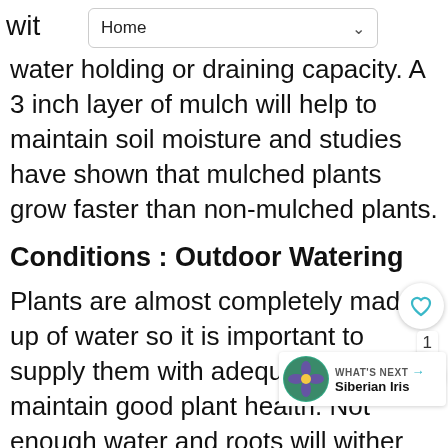Home
water holding or draining capacity. A 3 inch layer of mulch will help to maintain soil moisture and studies have shown that mulched plants grow faster than non-mulched plants.
Conditions : Outdoor Watering
Plants are almost completely made up of water so it is important to supply them with adequate water to maintain good plant health. Not enough water and roots will wither and the plant will wilt and die. Too much water applied too frequently deprives roots of oxygen and leads to plant diseases such as root and stem rots. The type of plant, plant age, light level, soil